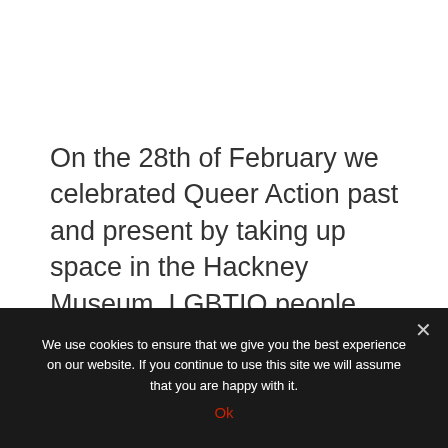On the 28th of February we celebrated Queer Action past and present by taking up space in the Hackney Museum. LGBTIQ people have fought for space because we had to, bringing the rights and places we needed into existence. How have we created, fought for and made space for
We use cookies to ensure that we give you the best experience on our website. If you continue to use this site we will assume that you are happy with it.
Ok